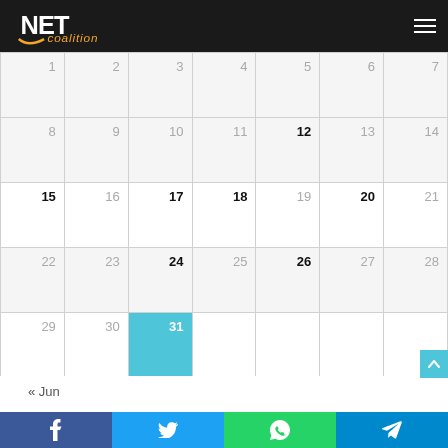[Figure (logo): NET Coalition logo in orange and white on dark background]
| 1 | 2 | 3 | 4 | 5 | 6 | 7 |
| 8 | 9 | 10 | 11 | 12 | 13 | 14 |
| 15 | 16 | 17 | 18 | 19 | 20 | 21 |
| 22 | 23 | 24 | 25 | 26 | 27 | 28 |
| 29 | 30 | 31 |  |  |  |  |
« Jun
Copyright © 2020 Net Coalition. All Rights Reserved.
Get Support